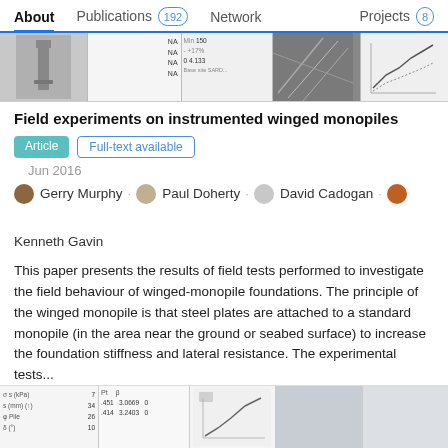About  Publications 192  Network  Projects 8
[Figure (screenshot): Strip of 5 small thumbnail images showing figures from related publications]
Field experiments on instrumented winged monopiles
Article  Full-text available
Jun 2016
Gerry Murphy · Paul Doherty · David Cadogan · Kenneth Gavin
This paper presents the results of field tests performed to investigate the field behaviour of winged-monopile foundations. The principle of the winged monopile is that steel plates are attached to a standard monopile (in the area near the ground or seabed surface) to increase the foundation stiffness and lateral resistance. The experimental tests...
View
[Figure (screenshot): Strip of 5 small thumbnail images showing figures from another publication]